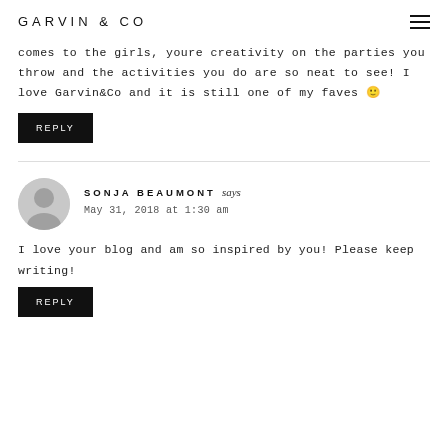GARVIN & CO
comes to the girls, youre creativity on the parties you throw and the activities you do are so neat to see! I love Garvin&Co and it is still one of my faves 🙂
REPLY
SONJA BEAUMONT says
May 31, 2018 at 1:30 am
I love your blog and am so inspired by you! Please keep writing!